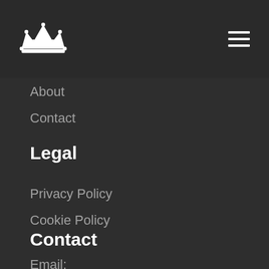[Figure (logo): White crown logo icon in the top left header bar]
About
Contact
Legal
Privacy Policy
Cookie Policy
Contact
Email: